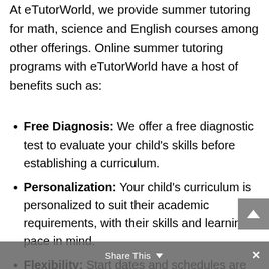At eTutorWorld, we provide summer tutoring for math, science and English courses among other offerings. Online summer tutoring programs with eTutorWorld have a host of benefits such as:
Free Diagnosis: We offer a free diagnostic test to evaluate your child's skills before establishing a curriculum.
Personalization: Your child's curriculum is personalized to suit their academic requirements, with their skills and learning pace in mind.
Flexibility: Start dates and schedules are flexible depending on the ability and availability of the student.
Share This ∨ ✕